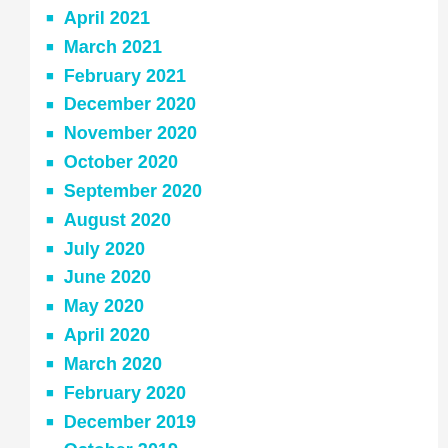April 2021
March 2021
February 2021
December 2020
November 2020
October 2020
September 2020
August 2020
July 2020
June 2020
May 2020
April 2020
March 2020
February 2020
December 2019
October 2019
September 2019
August 2019
July 2019
June 2019
May 2019
April 2019